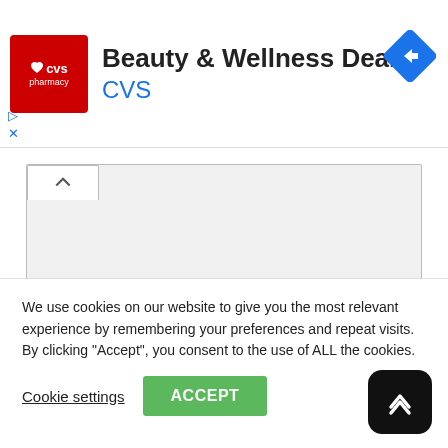[Figure (logo): CVS Pharmacy logo in red square with heart icon]
Beauty & Wellness Deals
CVS
[Figure (other): Blue diamond navigation/directions icon]
Name *
We use cookies on our website to give you the most relevant experience by remembering your preferences and repeat visits. By clicking “Accept”, you consent to the use of ALL the cookies.
Cookie settings
ACCEPT